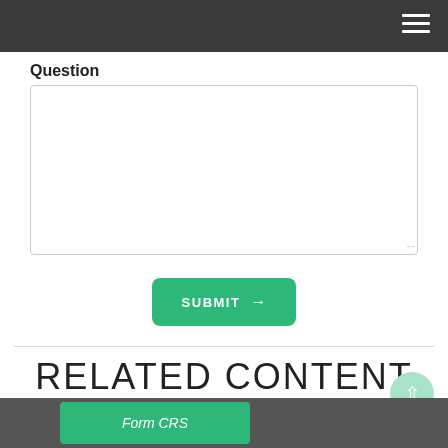Question
[Figure (screenshot): Empty textarea input box for a question form]
[Figure (screenshot): Green SUBMIT button with right arrow]
RELATED CONTENT
[Figure (screenshot): Bottom image strip with Form CRS green overlay button]